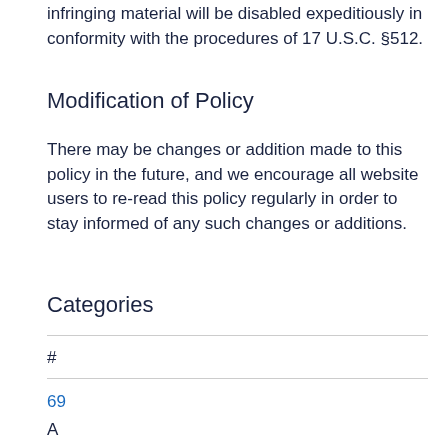infringing material will be disabled expeditiously in conformity with the procedures of 17 U.S.C. §512.
Modification of Policy
There may be changes or addition made to this policy in the future, and we encourage all website users to re-read this policy regularly in order to stay informed of any such changes or additions.
Categories
#
69
A